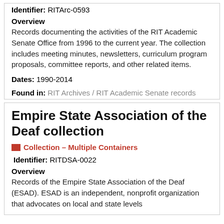Identifier: RITArc-0593
Overview
Records documenting the activities of the RIT Academic Senate Office from 1996 to the current year. The collection includes meeting minutes, newsletters, curriculum program proposals, committee reports, and other related items.
Dates: 1990-2014
Found in: RIT Archives / RIT Academic Senate records
Empire State Association of the Deaf collection
Collection – Multiple Containers
Identifier: RITDSA-0022
Overview
Records of the Empire State Association of the Deaf (ESAD). ESAD is an independent, nonprofit organization that advocates on local and state levels